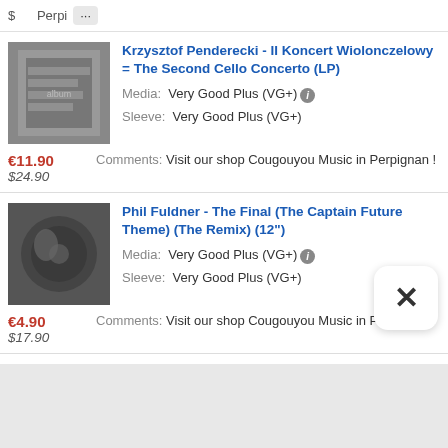$... Perpi ...
Krzysztof Penderecki - II Koncert Wiolonczelowy = The Second Cello Concerto (LP)
Media: Very Good Plus (VG+)
Sleeve: Very Good Plus (VG+)
Comments: Visit our shop Cougouyou Music in Perpignan !
Price: €11.90 / $24.90
Phil Fuldner - The Final (The Captain Future Theme) (The Remix) (12")
Media: Very Good Plus (VG+)
Sleeve: Very Good Plus (VG+)
Comments: Visit our shop Cougouyou Music in Perpignan !
Price: €4.90 / $17.90
Sapphirecut - Free Your Mind / Action Ro... (2x12")
Media: Very Good Plus (VG+)